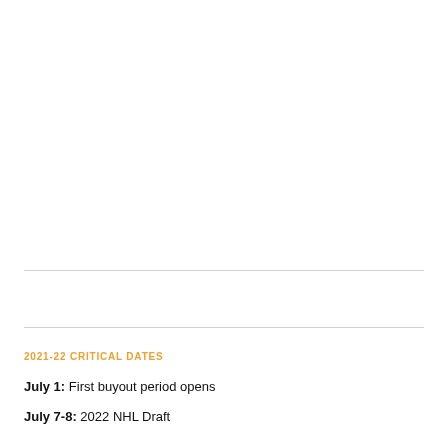2021-22 CRITICAL DATES
July 1: First buyout period opens
July 7-8: 2022 NHL Draft